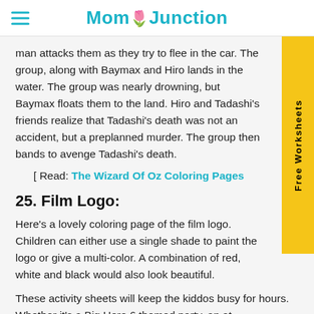MomJunction
man attacks them as they try to flee in the car. The group, along with Baymax and Hiro lands in the water. The group was nearly drowning, but Baymax floats them to the land. Hiro and Tadashi's friends realize that Tadashi's death was not an accident, but a preplanned murder. The group then bands to avenge Tadashi's death.
[ Read: The Wizard Of Oz Coloring Pages
25. Film Logo:
Here's a lovely coloring page of the film logo. Children can either use a single shade to paint the logo or give a multi-color. A combination of red, white and black would also look beautiful.
These activity sheets will keep the kiddos busy for hours. Whether it's a Big Hero 6 themed party, an at-